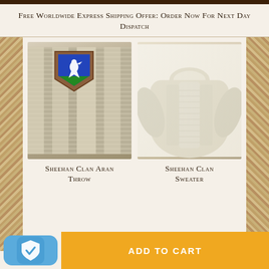Free Worldwide Express Shipping Offer: Order Now For Next Day Dispatch
[Figure (photo): Close-up of cream cable-knit Aran throw with a blue heraldic crest badge mounted on a wooden shield showing a white bird on a green field]
[Figure (photo): Cream cable-knit Aran sweater displayed showing back and side view with classic Aran stitching patterns on a white background]
Sheehan Clan Aran Throw
Sheehan Clan Sweater
Choose options ∨
ADD TO CART